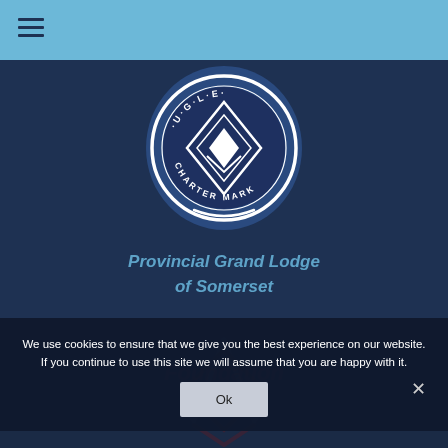≡ (hamburger menu)
[Figure (logo): U.G.L.E. Charter Mark seal — circular dark blue badge with white text reading '·U·G·L·E·' and 'CHARTER MARK' around a central diamond/square and compass emblem on a white circle border]
Provincial Grand Lodge
of Somerset
[Figure (illustration): Faint masonic square and compasses symbol in dark blue background at bottom of page]
We use cookies to ensure that we give you the best experience on our website. If you continue to use this site we will assume that you are happy with it.
Ok